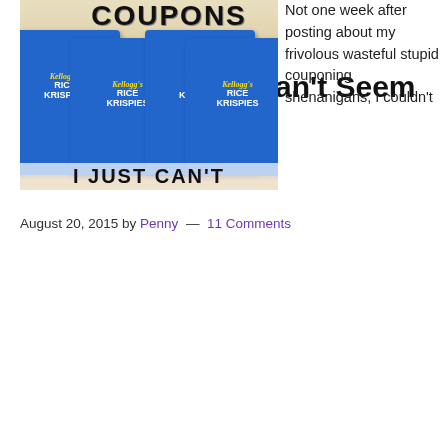routine , relationship , together
Coupons, I Just Can't Seem to Quit You
August 20, 2015 by Penny — 11 Comments
[Figure (photo): Photo of multiple Kellogg's Rice Krispies cereal boxes stacked together with the word COUPONS overlaid at the top and 'I JUST CAN'T' text at the bottom]
Not one week after posting about my frivolous wasteful stupid couponing shenanigans, I couldn't